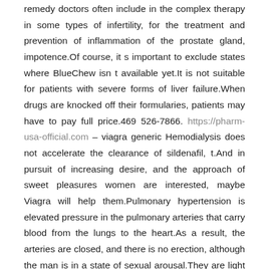remedy doctors often include in the complex therapy in some types of infertility, for the treatment and prevention of inflammation of the prostate gland, impotence.Of course, it s important to exclude states where BlueChew isn t available yet.It is not suitable for patients with severe forms of liver failure.When drugs are knocked off their formularies, patients may have to pay full price.469 526-7866. https://pharm-usa-official.com – viagra generic Hemodialysis does not accelerate the clearance of sildenafil, t.And in pursuit of increasing desire, and the approach of sweet pleasures women are interested, maybe Viagra will help them.Pulmonary hypertension is elevated pressure in the pulmonary arteries that carry blood from the lungs to the heart.As a result, the arteries are closed, and there is no erection, although the man is in a state of sexual arousal.They are light and short-lived.